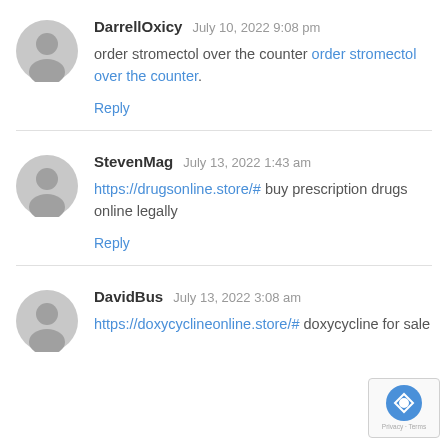DarrellOxicy   July 10, 2022 9:08 pm
order stromectol over the counter order stromectol over the counter.
Reply
StevenMag   July 13, 2022 1:43 am
https://drugsonline.store/# buy prescription drugs online legally
Reply
DavidBus   July 13, 2022 3:08 am
https://doxycyclineonline.store/# doxycycline for sale